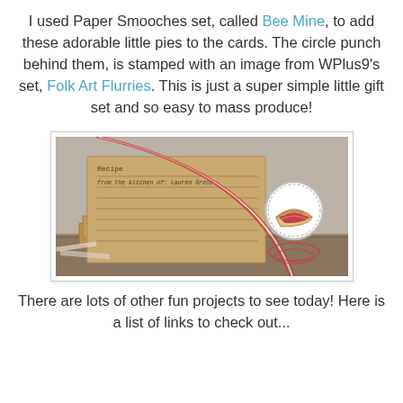I used Paper Smooches set, called Bee Mine, to add these adorable little pies to the cards.  The circle punch behind them, is stamped with an image from WPlus9's set, Folk Art Flurries.  This is just a super simple little gift set and so easy to mass produce!
[Figure (photo): A photo of kraft paper recipe cards stacked together, tied with red and white twine, with a circular tag decorated with a stamped pie image. The cards are propped up against a white brick-like background.]
There are lots of other fun projects to see today!  Here is a list of links to check out...